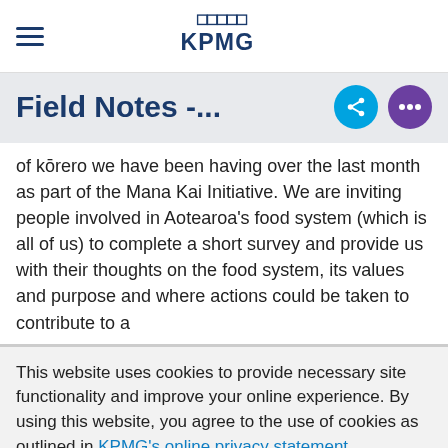KPMG
Field Notes -...
of kōrero we have been having over the last month as part of the Mana Kai Initiative. We are inviting people involved in Aotearoa's food system (which is all of us) to complete a short survey and provide us with their thoughts on the food system, its values and purpose and where actions could be taken to contribute to a
This website uses cookies to provide necessary site functionality and improve your online experience. By using this website, you agree to the use of cookies as outlined in KPMG's online privacy statement.
I agree >